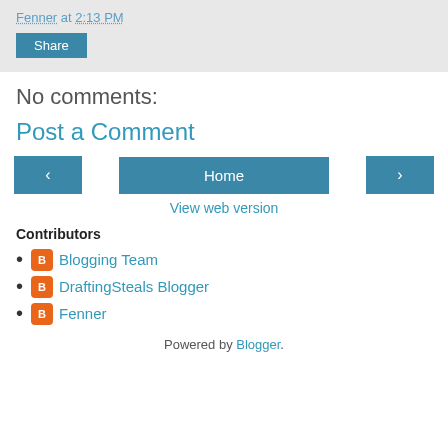Fenner at 2:13 PM
Share
No comments:
Post a Comment
< Home >
View web version
Contributors
Blogging Team
DraftingSteals Blogger
Fenner
Powered by Blogger.